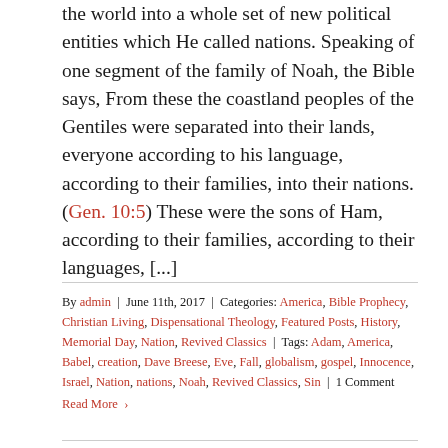the world into a whole set of new political entities which He called nations. Speaking of one segment of the family of Noah, the Bible says, From these the coastland peoples of the Gentiles were separated into their lands, everyone according to his language, according to their families, into their nations. (Gen. 10:5) These were the sons of Ham, according to their families, according to their languages, [...]
By admin | June 11th, 2017 | Categories: America, Bible Prophecy, Christian Living, Dispensational Theology, Featured Posts, History, Memorial Day, Nation, Revived Classics | Tags: Adam, America, Babel, creation, Dave Breese, Eve, Fall, globalism, gospel, Innocence, Israel, Nation, nations, Noah, Revived Classics, Sin | 1 Comment Read More ›